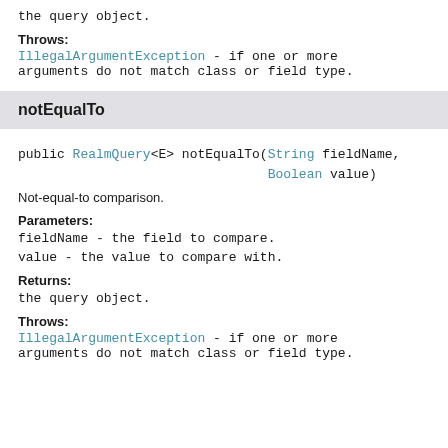the query object.
Throws:
IllegalArgumentException - if one or more arguments do not match class or field type.
notEqualTo
public RealmQuery<E> notEqualTo(String fieldName, Boolean value)
Not-equal-to comparison.
Parameters:
fieldName - the field to compare.
value - the value to compare with.
Returns:
the query object.
Throws:
IllegalArgumentException - if one or more arguments do not match class or field type.